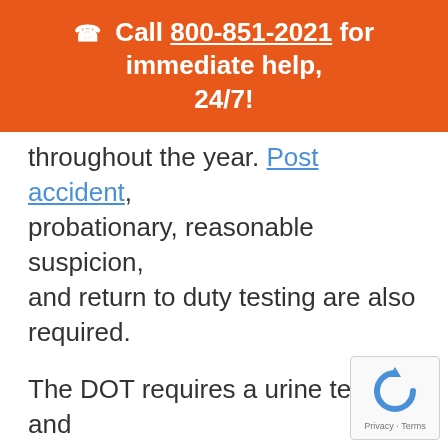📞 Call 800-851-2021 for immediate help, 24/7!
throughout the year. Post accident, probationary, reasonable suspicion, and return to duty testing are also required.
The DOT requires a urine test and looks for the following drugs:
Amphetamines and methamphetamines